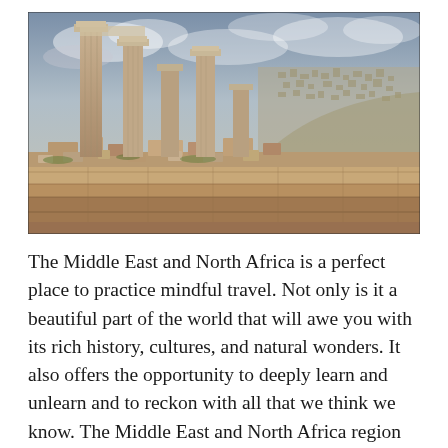[Figure (photo): Photograph of ancient Roman ruins with tall stone columns standing among scattered rubble and stone blocks, with a hillside city visible in the background under a cloudy sky. Likely Amman Citadel in Jordan.]
The Middle East and North Africa is a perfect place to practice mindful travel. Not only is it a beautiful part of the world that will awe you with its rich history, cultures, and natural wonders. It also offers the opportunity to deeply learn and unlearn and to reckon with all that we think we know. The Middle East and North Africa region has been unfairly covered in the media and maligned by powerful